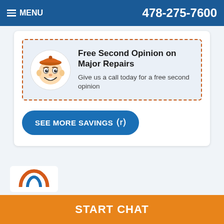MENU | 478-275-7600
[Figure (illustration): Coupon box with dashed orange border containing a cartoon mascot (boy with orange cap) and text about free second opinion on major repairs]
Free Second Opinion on Major Repairs
Give us a call today for a free second opinion
SEE MORE SAVINGS ⊙
[Figure (logo): Company logo icon partial view at bottom left]
START CHAT